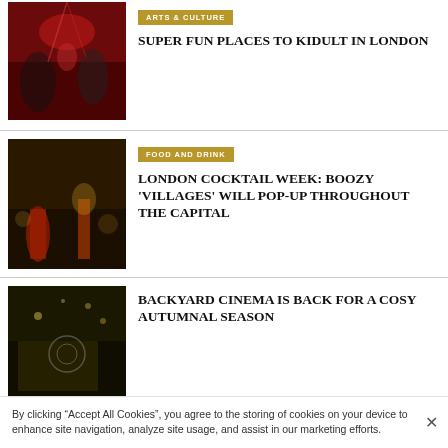[Figure (photo): People dancing under red stage lights]
SUPER FUN PLACES TO KIDULT IN LONDON
[Figure (photo): Cocktail glasses on a dark bar]
FOOD AND DRINK
LONDON COCKTAIL WEEK: BOOZY 'VILLAGES' WILL POP-UP THROUGHOUT THE CAPITAL
[Figure (photo): Backyard cinema outdoor setup with lights]
BACKYARD CINEMA IS BACK FOR A COSY AUTUMNAL SEASON
By clicking “Accept All Cookies”, you agree to the storing of cookies on your device to enhance site navigation, analyze site usage, and assist in our marketing efforts.